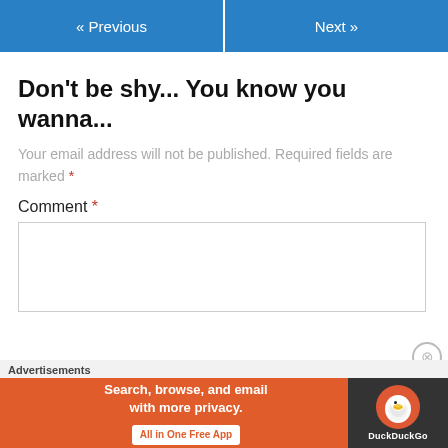« Previous   Next »
Don't be shy... You know you wanna...
Your email address will not be published. Required fields are marked *
Comment *
[Figure (screenshot): Empty comment text area input box]
[Figure (screenshot): DuckDuckGo advertisement banner: Search, browse, and email with more privacy. All in One Free App]
Advertisements